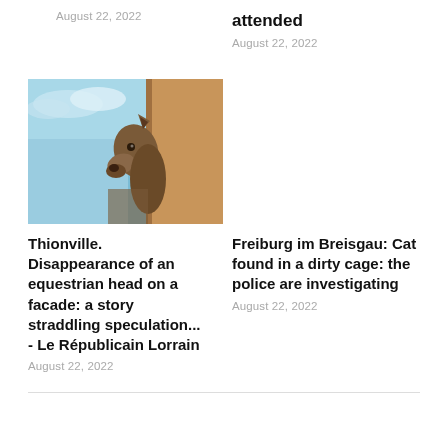August 22, 2022
attended
August 22, 2022
[Figure (photo): A horse head peeking around the corner of a building facade, against a blue sky background]
Thionville. Disappearance of an equestrian head on a facade: a story straddling speculation... - Le Républicain Lorrain
August 22, 2022
Freiburg im Breisgau: Cat found in a dirty cage: the police are investigating
August 22, 2022